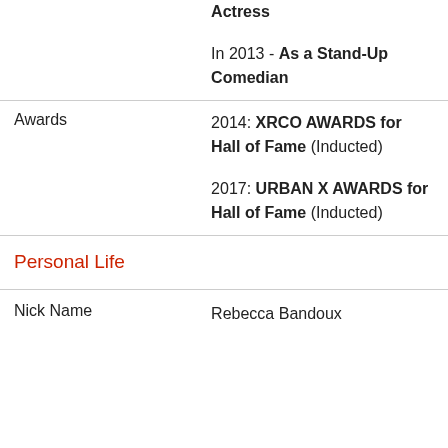|  | In 2013 - As a Stand-Up Comedian |
| Awards | 2014: XRCO AWARDS for Hall of Fame (Inducted)

2017: URBAN X AWARDS for Hall of Fame (Inducted) |
| Personal Life |  |
| Nick Name | Rebecca Bandoux |